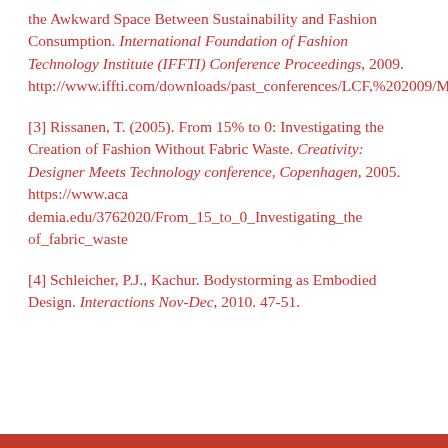the Awkward Space Between Sustainability and Fashion Consumption. International Foundation of Fashion Technology Institute (IFFTI) Conference Proceedings, 2009. http://www.iffti.com/downloads/past_conferences/LCF,%202009/McQuillan_Holly.pdf
[3] Rissanen, T. (2005). From 15% to 0: Investigating the Creation of Fashion Without Fabric Waste. Creativity: Designer Meets Technology conference, Copenhagen, 2005. https://www.academia.edu/3762020/From_15_to_0_Investigating_the_of_fabric_waste
[4] Schleicher, P.J., Kachur. Bodystorming as Embodied Design. Interactions Nov-Dec, 2010. 47-51.